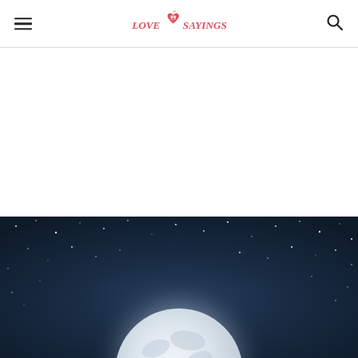Love Sayings
[Figure (illustration): Night sky with full moon illustration — dark blue starry sky background with a large white/silver full moon in the center bottom portion of the image]